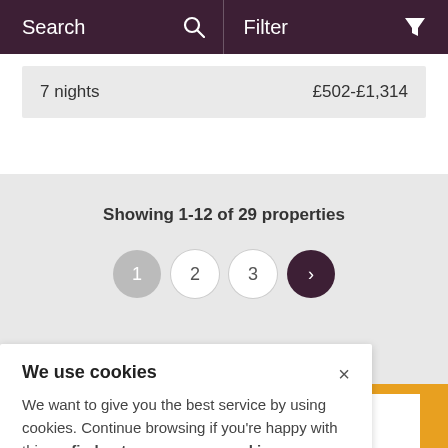Search | Filter
7 nights   £502-£1,314
Showing 1-12 of 29 properties
[Figure (other): Pagination controls: buttons 1 (grey), 2 (white), 3 (white), > next (dark purple)]
We use cookies
We want to give you the best service by using cookies. Continue browsing if you're happy with this, or find out more on our cookies.
About us